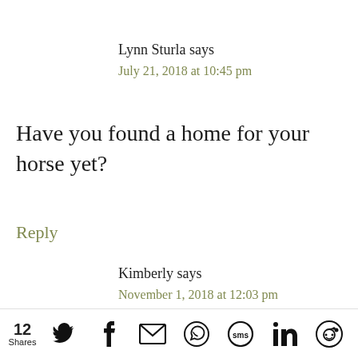Lynn Sturla says
July 21, 2018 at 10:45 pm
Have you found a home for your horse yet?
Reply
Kimberly says
November 1, 2018 at 12:03 pm
12 Shares [Twitter] [Facebook] [Email] [WhatsApp] [SMS] [LinkedIn] [Reddit]